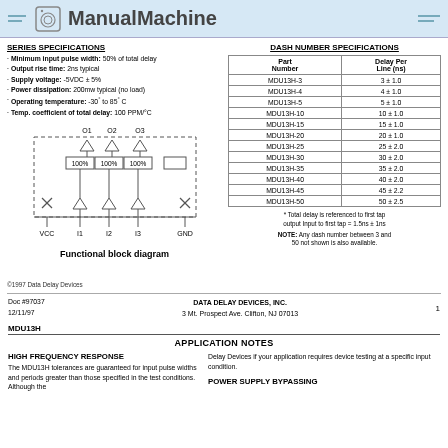ManualMachine
SERIES SPECIFICATIONS
Minimum input pulse width: 50% of total delay
Output rise time: 2ns typical
Supply voltage: -5VDC ± 5%
Power dissipation: 200mw typical (no load)
Operating temperature: -30° to 85°C
Temp. coefficient of total delay: 100 PPM/°C
[Figure (engineering-diagram): Functional block diagram showing VCC, I1, I2, I3, GND inputs with triangular buffer symbols and 100% labels, with outputs O1, O2, O3]
Functional block diagram
DASH NUMBER SPECIFICATIONS
| Part Number | Delay Per Line (ns) |
| --- | --- |
| MDU13H-3 | 3 ± 1.0 |
| MDU13H-4 | 4 ± 1.0 |
| MDU13H-5 | 5 ± 1.0 |
| MDU13H-10 | 10 ± 1.0 |
| MDU13H-15 | 15 ± 1.0 |
| MDU13H-20 | 20 ± 1.0 |
| MDU13H-25 | 25 ± 2.0 |
| MDU13H-30 | 30 ± 2.0 |
| MDU13H-35 | 35 ± 2.0 |
| MDU13H-40 | 40 ± 2.0 |
| MDU13H-45 | 45 ± 2.2 |
| MDU13H-50 | 50 ± 2.5 |
* Total delay is referenced to first tap output Input to first tap = 1.5ns ± 1ns
NOTE: Any dash number between 3 and 50 not shown is also available.
©1997 Data Delay Devices
Doc #97037  12/11/97  DATA DELAY DEVICES, INC.  3 Mt. Prospect Ave. Clifton, NJ 07013  1
MDU13H
APPLICATION NOTES
HIGH FREQUENCY RESPONSE
The MDU13H tolerances are guaranteed for input pulse widths and periods greater than those specified in the test conditions. Although the
Delay Devices if your application requires device testing at a specific input condition.
POWER SUPPLY BYPASSING